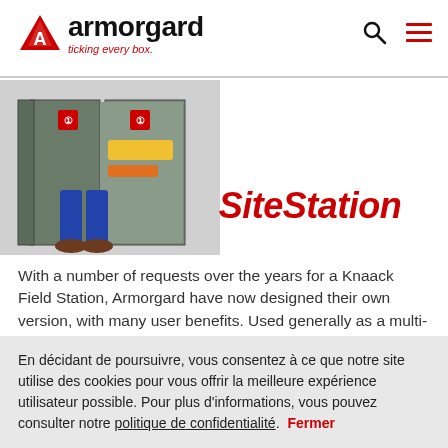armorgard – ticking every box.
[Figure (photo): Person standing in front of an open Armorgard SiteStation storage unit, wearing work boots and jeans, with tools/equipment visible inside.]
SiteStation
With a number of requests over the years for a Knaack Field Station, Armorgard have now designed their own version, with many user benefits. Used generally as a multi-purpose site store, they are useful for securing anything from PPE to power tools, and from copper fittings to site plans. Various different compartments means that you can have the main door open
En décidant de poursuivre, vous consentez à ce que notre site utilise des cookies pour vous offrir la meilleure expérience utilisateur possible. Pour plus d'informations, vous pouvez consulter notre politique de confidentialité.   Fermer